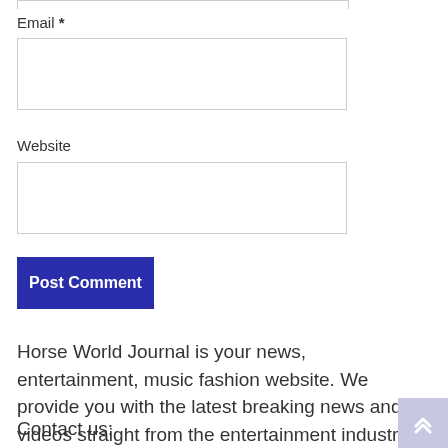Email *
[Figure (other): Empty email input text field]
Website
[Figure (other): Empty website input text field]
Post Comment
Horse World Journal is your news, entertainment, music fashion website. We provide you with the latest breaking news and videos straight from the entertainment industry.
Contact us: